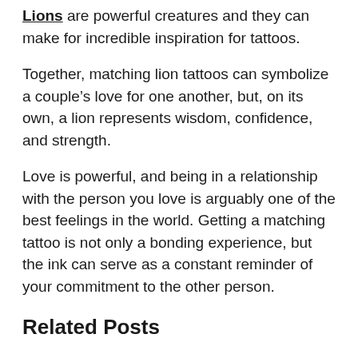Lions are powerful creatures and they can make for incredible inspiration for tattoos.
Together, matching lion tattoos can symbolize a couple’s love for one another, but, on its own, a lion represents wisdom, confidence, and strength.
Love is powerful, and being in a relationship with the person you love is arguably one of the best feelings in the world. Getting a matching tattoo is not only a bonding experience, but the ink can serve as a constant reminder of your commitment to the other person.
Related Posts